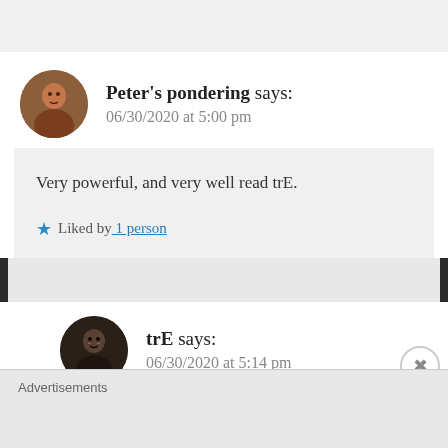Peter's pondering says: 06/30/2020 at 5:00 pm
Very powerful, and very well read trE.
★ Liked by 1 person
trE says: 06/30/2020 at 5:14 pm
Thank you...
Advertisements